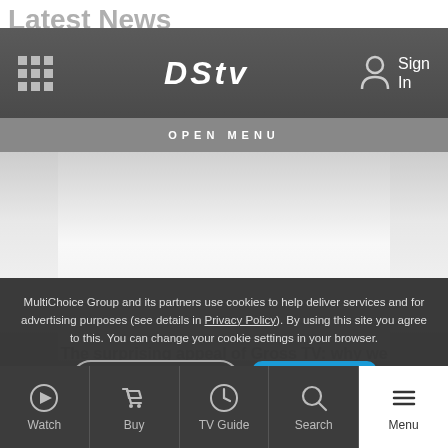Latest News
[Figure (screenshot): DStv website header with grid/menu icon on left, DStv logo centered, and Sign In icon on right, on dark gray background]
OPEN MENU
[Figure (screenshot): Blurred/faded content area showing a news article preview]
MultiChoice Group and its partners use cookies to help deliver services and for advertising purposes (see details in Privacy Policy). By using this site you agree to this. You can change your cookie settings in your browser.
Accept Cookies
Let's Chat!
The surprising appeal of Gross TV: why we watch, and the horrors we've seen!
Watch  Buy  TV Guide  Search  Menu